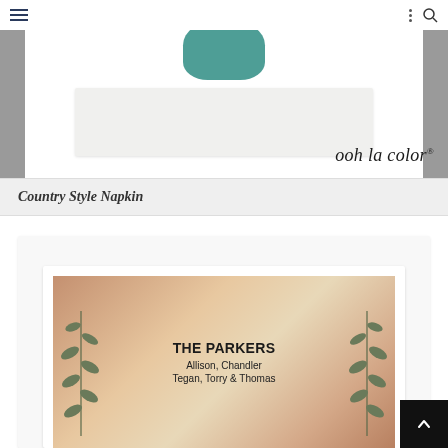Navigation header with hamburger menu and search icon
[Figure (photo): Product photo showing a teal/green napkin above a white card on a gray background, with 'ooh la color®' script text in the bottom right]
Country Style Napkin
[Figure (photo): Product photo showing a rustic personalized napkin with botanical leaf design for 'THE PARKERS, Allison, Chandler, Tegan, Torry & Thomas' on a warm terracotta textured background]